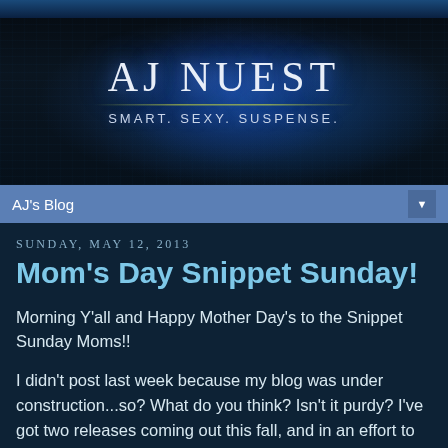[Figure (illustration): AJ Nuest blog banner with dark blue textured background, glowing blue light effect, large white text 'AJ NUEST', yellow-green horizontal line, and subtitle 'Smart. Sexy. Suspense.']
AJ's Blog ▼
Sunday, May 12, 2013
Mom's Day Snippet Sunday!
Morning Y'all and Happy Mother Day's to the Snippet Sunday Moms!!
I didn't post last week because my blog was under construction...so? What do you think? Isn't it purdy? I've got two releases coming out this fall, and in an effort to brand